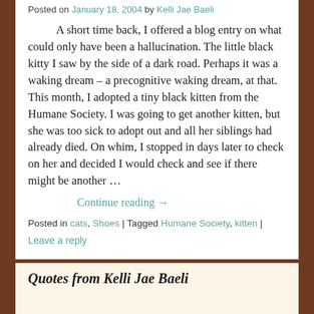Posted on January 18, 2004 by Kelli Jae Baeli
A short time back, I offered a blog entry on what could only have been a hallucination. The little black kitty I saw by the side of a dark road. Perhaps it was a waking dream – a precognitive waking dream, at that. This month, I adopted a tiny black kitten from the Humane Society. I was going to get another kitten, but she was too sick to adopt out and all her siblings had already died. On whim, I stopped in days later to check on her and decided I would check and see if there might be another …
Continue reading →
Posted in cats, Shoes | Tagged Humane Society, kitten | Leave a reply
Quotes from Kelli Jae Baeli